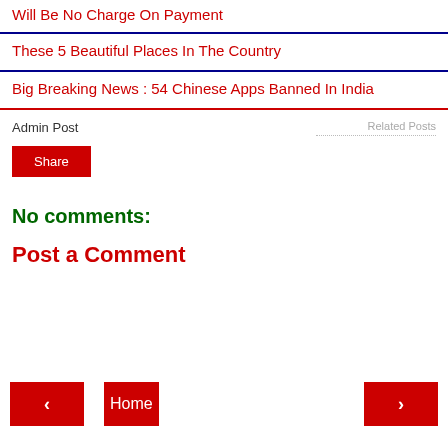Will Be No Charge On Payment
These 5 Beautiful Places In The Country
Big Breaking News : 54 Chinese Apps Banned In India
Admin Post
Related Posts
Share
No comments:
Post a Comment
‹
Home
›